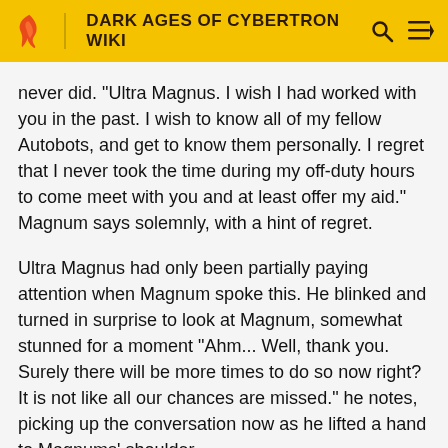DARK AGES OF CYBERTRON WIKI
never did. "Ultra Magnus. I wish I had worked with you in the past. I wish to know all of my fellow Autobots, and get to know them personally. I regret that I never took the time during my off-duty hours to come meet with you and at least offer my aid." Magnum says solemnly, with a hint of regret.
Ultra Magnus had only been partially paying attention when Magnum spoke this. He blinked and turned in surprise to look at Magnum, somewhat stunned for a moment "Ahm... Well, thank you. Surely there will be more times to do so now right? It is not like all our chances are missed." he notes, picking up the conversation now as he lifted a hand to Magnums' shoulder.